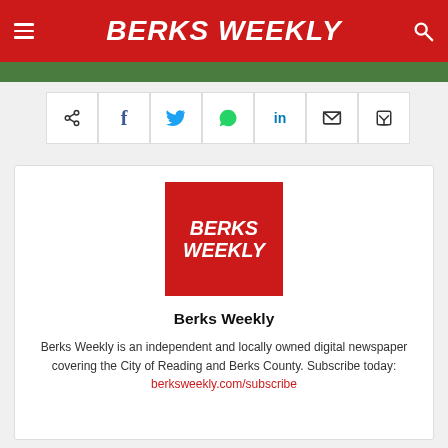BERKS WEEKLY
[Figure (screenshot): Green advertisement banner strip at top of page]
[Figure (infographic): Social share buttons row: share, Facebook, Twitter, WhatsApp, LinkedIn, Email, Print]
[Figure (logo): Berks Weekly red square logo with white italic bold text BERKS WEEKLY]
Berks Weekly
Berks Weekly is an independent and locally owned digital newspaper covering the City of Reading and Berks County. Subscribe today: berksweekly.com/subscribe